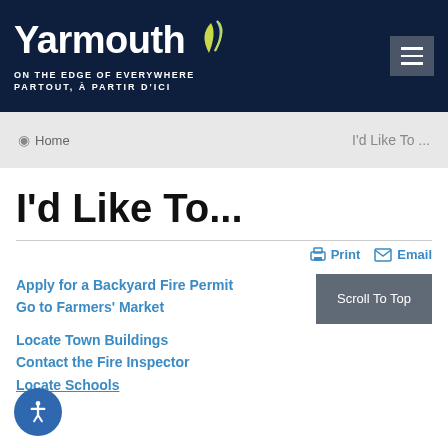[Figure (logo): Yarmouth municipality logo with leaf graphic and taglines 'ON THE EDGE OF EVERYWHERE' and 'PARTOUT, À PARTIR D'ICI' on dark navy background]
Home | I'd Like To ...
I'd Like To...
Print  Email
Apply for a Backyard Fire Permit
Go to Farmers' Market
Locate Town Buildings
Contact the Fire Inspector
Locate Schools